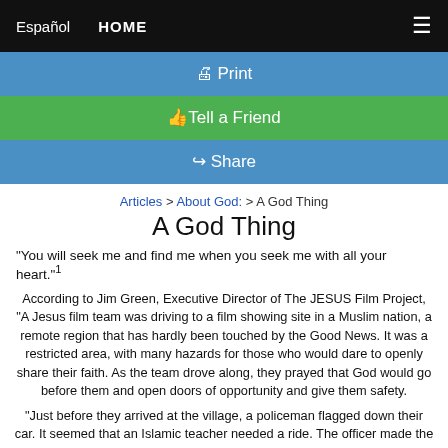Español   HOME   ☰
🖨 Print
👍Tell a Friend
↪ Share
Articles > About God: > A God Thing
A God Thing
"You will seek me and find me when you seek me with all your heart."1
According to Jim Green, Executive Director of The JESUS Film Project, "A Jesus film team was driving to a film showing site in a Muslim nation, a remote region that has hardly been touched by the Good News. It was a restricted area, with many hazards for those who would dare to openly share their faith. As the team drove along, they prayed that God would go before them and open doors of opportunity and give them safety.
"Just before they arrived at the village, a policeman flagged down their car. It seemed that an Islamic teacher needed a ride. The officer made the introduction and asked if they could help. Feeling it was an answer to their prayers...